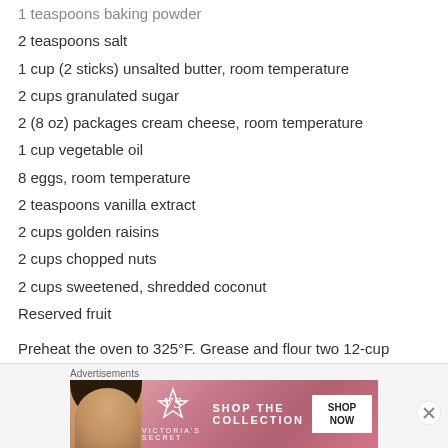1 teaspoons baking powder
2 teaspoons salt
1 cup (2 sticks) unsalted butter, room temperature
2 cups granulated sugar
2 (8 oz) packages cream cheese, room temperature
1 cup vegetable oil
8 eggs, room temperature
2 teaspoons vanilla extract
2 cups golden raisins
2 cups chopped nuts
2 cups sweetened, shredded coconut
Reserved fruit
Preheat the oven to 325°F. Grease and flour two 12-cup
[Figure (advertisement): Victoria's Secret 'Shop The Collection' advertisement banner with model photo]